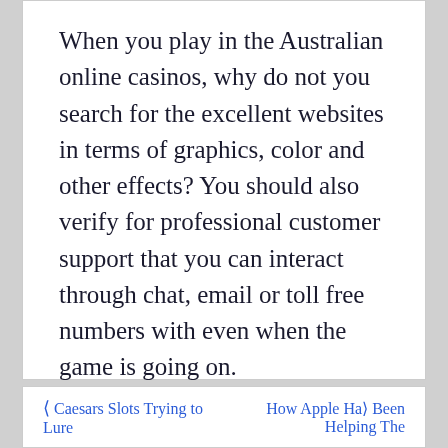When you play in the Australian online casinos, why do not you search for the excellent websites in terms of graphics, color and other effects? You should also verify for professional customer support that you can interact through chat, email or toll free numbers with even when the game is going on.
❮ Caesars Slots Trying to Lure
How Apple Ha❯ Been Helping The